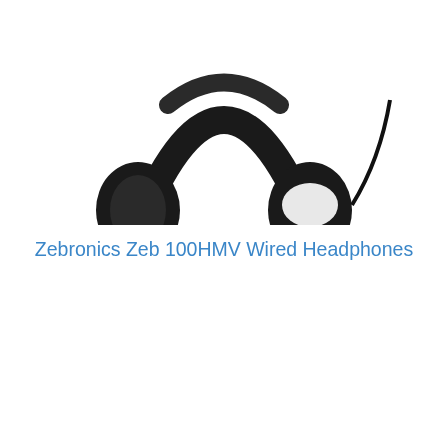[Figure (photo): Black over-ear wired headphones photographed from below, showing the headband and ear cups against a white background. The headphones appear to be Zebronics Zeb 100HMV model.]
Zebronics Zeb 100HMV Wired Headphones
[Figure (other): Blue rectangular 'View More' button with white bold text, overlaid with a green WhatsApp icon/logo on the left side.]
[Figure (other): Empty white card section below a horizontal divider line, representing the next product card area.]